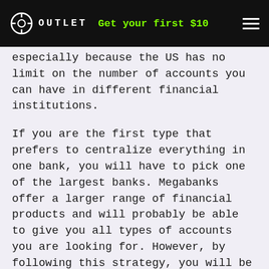OUTLET | Get your first $10
especially because the US has no limit on the number of accounts you can have in different financial institutions.
If you are the first type that prefers to centralize everything in one bank, you will have to pick one of the largest banks. Megabanks offer a larger range of financial products and will probably be able to give you all types of accounts you are looking for. However, by following this strategy, you will be losing the opportunity to take advantage of the best interest rates and deals available in the market.
If you are one of the latter types of people, who are always looking for the best deals, then the number of